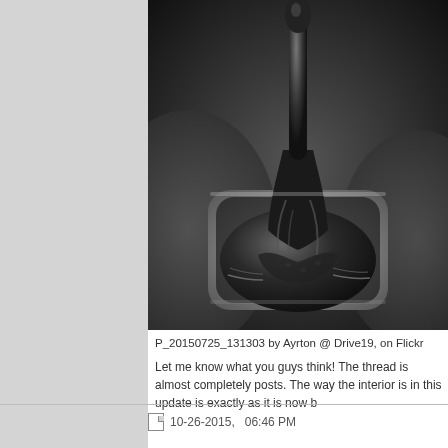[Figure (photo): Close-up black and white photograph of a car gear shift lever and leather boot/gaiter around the gear stick, set in a center console with leather trim.]
P_20150725_131303 by Ayrton @ Drive19, on Flickr
Let me know what you guys think! The thread is almost completely posts. The way the interior is in this update is exactly as it is now b
10-26-2015,   06:46 PM